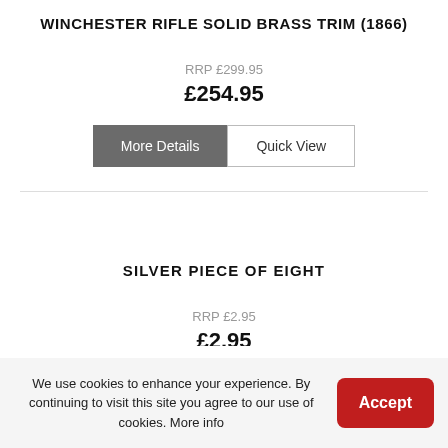WINCHESTER RIFLE SOLID BRASS TRIM (1866)
RRP £299.95
£254.95
More Details | Quick View
SILVER PIECE OF EIGHT
RRP £2.95
£2.95
We use cookies to enhance your experience. By continuing to visit this site you agree to our use of cookies. More info